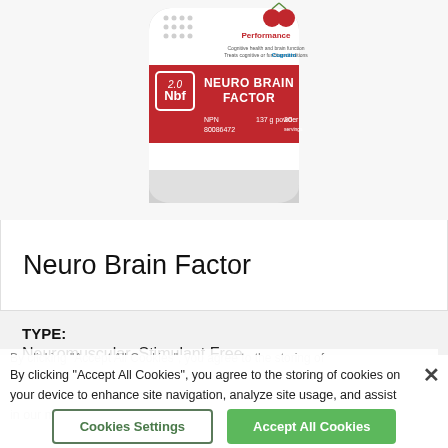[Figure (photo): A white supplement/protein powder container labeled 'Neuro Brain Factor' with 'Nbf 2.0' badge, red label band, showing NPN 80086472, 137g powder, 20 servings. Red cherries visible at top, 'Performance' and 'Cognitin' branding.]
Neuro Brain Factor
TYPE:
Neuromuscular, Stimulant Free
By clicking "Accept All Cookies", you agree to the storing of cookies on your device to enhance site navigation, analyze site usage, and assist in our marketing efforts.
Cookies Settings
Accept All Cookies